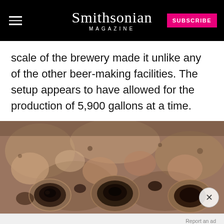Smithsonian MAGAZINE
scale of the brewery made it unlike any of the other beer-making facilities. The setup appears to have allowed for the production of 5,900 gallons at a time.
[Figure (photo): Close-up photograph of ancient ceramic brewing vats or pots with circular openings, set in clay/stone, showing archaeological excavation of an Egyptian brewery.]
SMITHSONIAN MAGAZINE SENIOR DISCOUNT
Ad | An AMG Site